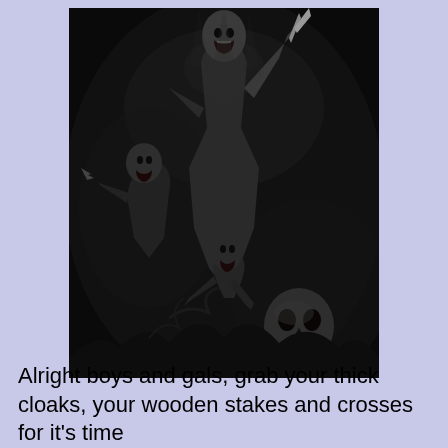[Figure (illustration): Dark fantasy black and white illustration showing a central tall gaunt creature (vampire/ghoul) holding a blade aloft with mouth open, surrounded by other monstrous skeletal and zombie-like creatures including skulls and claw-like figures, all set against a dark shadowy background.]
Alright boys and gals, grab your thick cloaks, your wooden stakes and crosses for it's time